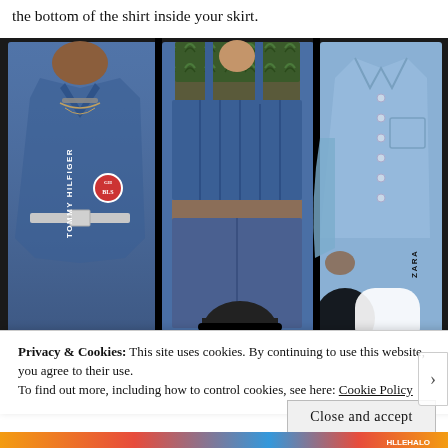the bottom of the shirt inside your skirt.
[Figure (photo): Three fashion photos showing models wearing denim outfits. Left: Tommy Hilfiger runway model in denim jacket with belt and badges. Center: Zara denim corset crop top with jeans. Right: Zara light-wash denim jacket. Brand labels TOMMY HILFIGER and ZARA are overlaid on the images.]
Privacy & Cookies: This site uses cookies. By continuing to use this website, you agree to their use.
To find out more, including how to control cookies, see here: Cookie Policy
Close and accept